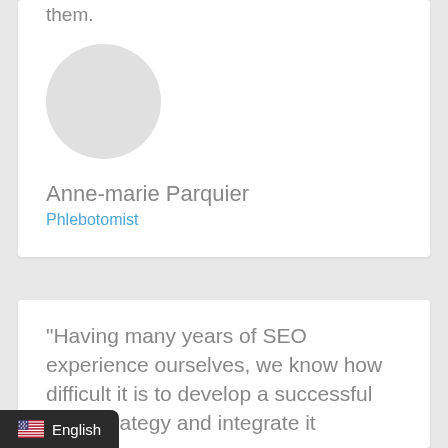them.
[Figure (photo): Circular avatar placeholder (light grey circle)]
Anne-marie Parquier
Phlebotomist
"Having many years of SEO experience ourselves, we know how difficult it is to develop a successful SEO strategy and integrate it